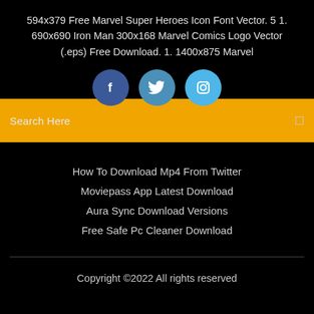594x379 Free Marvel Super Heroes Icon Font Vector. 5 1. 690x690 Iron Man 300x168 Marvel Comics Logo Vector (.eps) Free Download. 1. 1400x875 Marvel
[Figure (illustration): Three social media icon buttons: Facebook (dark blue circle with 'f'), Twitter (blue circle with bird icon), Instagram (light blue circle with camera icon)]
Search Here
How To Download Mp4 From Twitter
Moviepass App Latest Download
Aura Sync Download Versions
Free Safe Pc Cleaner Download
Copyright ©2022 All rights reserved